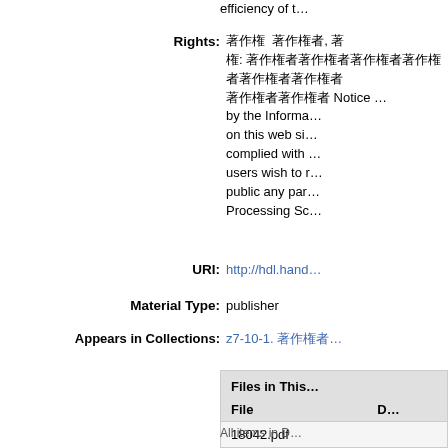efficiency of t...
Rights: 著作権 著作権者, 著作権: 著作権者著作権者著作権者著作権者著作権者著作権者 著作権者 Notice ... by the Information on this web site complied with users wish to public any par Processing Sc...
URI: http://hdl.hand...
Material Type: publisher
Appears in Collections: z7-10-1. 著作権者...
| File | D |
| --- | --- |
| 18042.pdf |  |
All items in D...